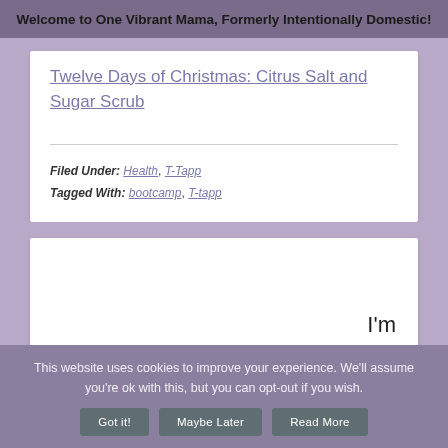Welcome to One Vibrant Mama, Formerly Intentionally Domestic!
Twelve Days of Christmas: Citrus Salt and Sugar Scrub
Filed Under: Health, T-Tapp
Tagged With: bootcamp, T-tapp
I'm
This website uses cookies to improve your experience. We'll assume you're ok with this, but you can opt-out if you wish.
Got it!  Maybe Later  Read More